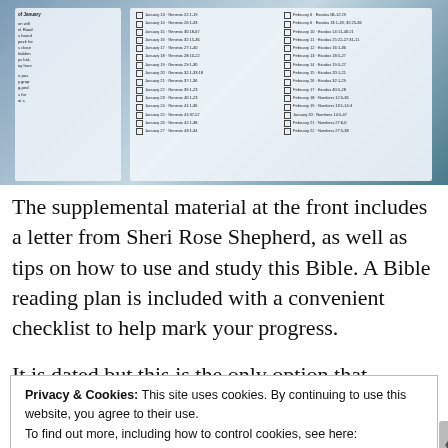[Figure (photo): An open Bible lying on grass, showing a reading plan checklist with dates in January and February on the right page, and supplemental material on the left page.]
The supplemental material at the front includes a letter from Sheri Rose Shepherd, as well as tips on how to use and study this Bible. A Bible reading plan is included with a convenient checklist to help mark your progress.
It is dated but this is the only option that includes...
Privacy & Cookies: This site uses cookies. By continuing to use this website, you agree to their use.
To find out more, including how to control cookies, see here:
Cookie Policy
Close and accept